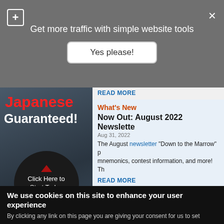Get more traffic with simple website tools
Yes please!
[Figure (screenshot): Advertisement banner for Japanese language learning with red 'Japanese' text, white 'Guaranteed!' text, and a dark circular button reading 'Click Here to Start Today' with red arrows]
READ MORE
What's New
Now Out: August 2022 Newsletter
Aug 31, 2022
The August newsletter "Down to the Marrow" p mnemonics, contest information, and more! Th
READ MORE
On Deck
We use cookies on this site to enhance your user experience
By clicking any link on this page you are giving your consent for us to set